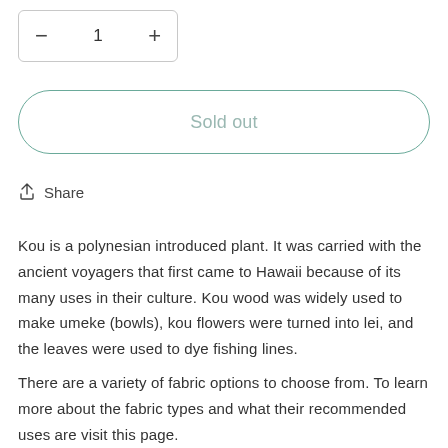[Figure (other): Quantity selector widget showing minus button, number 1, and plus button inside a rounded rectangle border]
[Figure (other): Sold out button — a large pill-shaped outlined button with teal border and grey 'Sold out' text]
Share
Kou is a polynesian introduced plant. It was carried with the ancient voyagers that first came to Hawaii because of its many uses in their culture. Kou wood was widely used to make umeke (bowls), kou flowers were turned into lei, and the leaves were used to dye fishing lines.
There are a variety of fabric options to choose from. To learn more about the fabric types and what their recommended uses are visit this page.